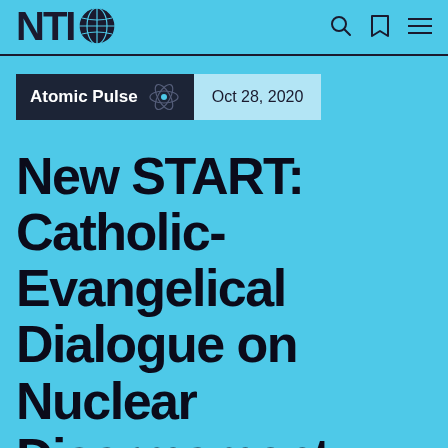NTI
Atomic Pulse · Oct 28, 2020
New START: Catholic-Evangelical Dialogue on Nuclear Disarmament